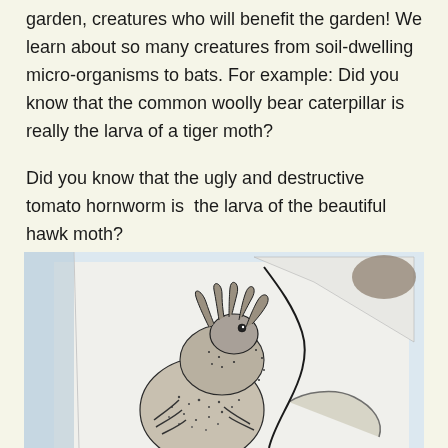garden, creatures who will benefit the garden! We learn about so many creatures from soil-dwelling micro-organisms to bats. For example: Did you know that the common woolly bear caterpillar is really the larva of a tiger moth?
Did you know that the ugly and destructive tomato hornworm is the larva of the beautiful hawk moth?
[Figure (illustration): A black and white pen illustration of a caterpillar or larva (likely a tomato hornworm), shown in detailed stipple/line art style, photographed from a book page. The creature is depicted clinging to a plant stem, with detailed textured body segments visible.]